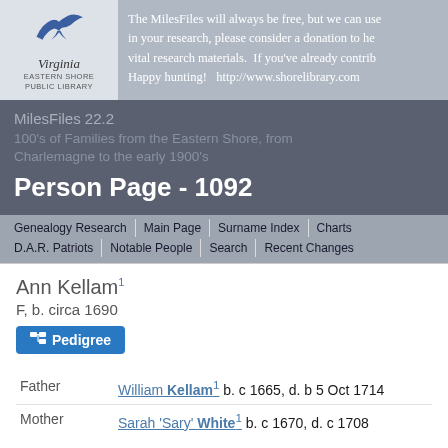The MilesFiles will always be free, but we can use in your research, please consider a donation to he vital research materials. If you've already contrib Happy hunting! http://www.shorelibrary.com
MilesFiles 22.2
100's of Families from the Eastern Shore, from Charlemagne to the early 1900's
Person Page - 1092
Genealogy Research | Main Page | Surname Index | Charts | D.A.R. Patriots | Notable People | Search | Recent Changes
Ann Kellam¹
F, b. circa 1690
| Relation | Person |
| --- | --- |
| Father | William Kellam¹ b. c 1665, d. b 5 Oct 1714 |
| Mother | Sarah 'Sary' White¹ b. c 1670, d. c 1708 |